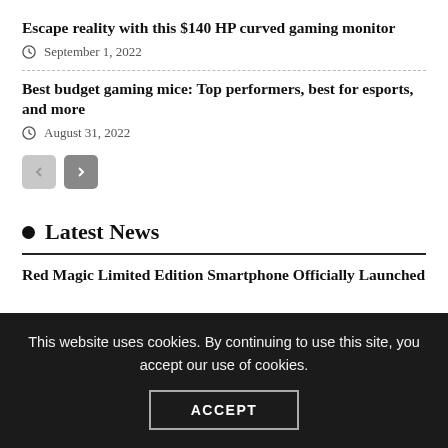Escape reality with this $140 HP curved gaming monitor
September 1, 2022
Best budget gaming mice: Top performers, best for esports, and more
August 31, 2022
Latest News
Red Magic Limited Edition Smartphone Officially Launched
This website uses cookies. By continuing to use this site, you accept our use of cookies.
ACCEPT